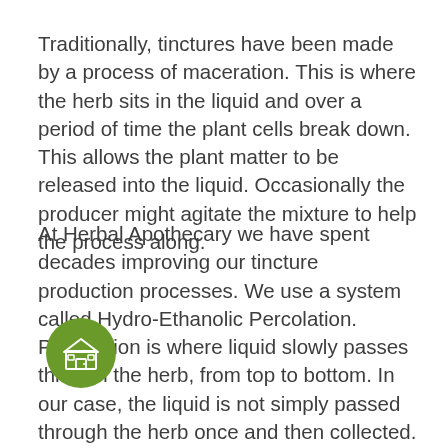Traditionally, tinctures have been made by a process of maceration. This is where the herb sits in the liquid and over a period of time the plant cells break down. This allows the plant matter to be released into the liquid. Occasionally the producer might agitate the mixture to help the process along.
At Herbal Apothecary we have spent decades improving our tincture production processes. We use a system called Hydro-Ethanolic Percolation. Percolation is where liquid slowly passes through the herb, from top to bottom. In our case, the liquid is not simply passed through the herb once and then collected. Instead, it is continually cycled through the herb. Hydro-Ethanolic Percolation is a combination of maceration and traditional percolation. The circulation of liquid through a spray head agitates the herb, helping the key chemical compounds to be released into the liquid.
[Figure (illustration): A green circular icon with a white building/shop illustration inside it, overlaid on the second paragraph of text.]